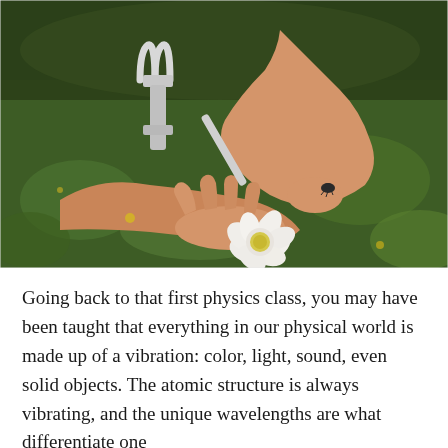[Figure (photo): A person holding a tuning fork near their wrist (which has a small tattoo), with their other hand open and holding a white flower, all resting on green clover grass.]
Going back to that first physics class, you may have been taught that everything in our physical world is made up of a vibration: color, light, sound, even solid objects. The atomic structure is always vibrating, and the unique wavelengths are what differentiate one